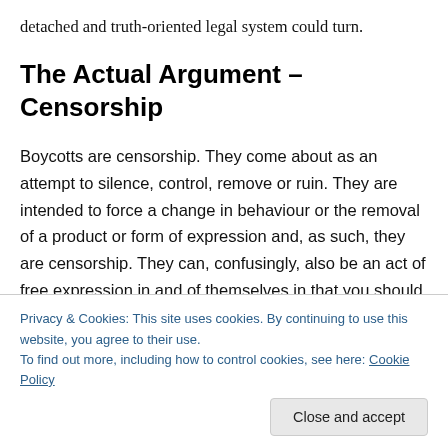detached and truth-oriented legal system could turn.
The Actual Argument – Censorship
Boycotts are censorship. They come about as an attempt to silence, control, remove or ruin. They are intended to force a change in behaviour or the removal of a product or form of expression and, as such, they are censorship. They can, confusingly, also be an act of free expression in and of themselves in that you should be able to express
Privacy & Cookies: This site uses cookies. By continuing to use this website, you agree to their use.
To find out more, including how to control cookies, see here: Cookie Policy
Close and accept